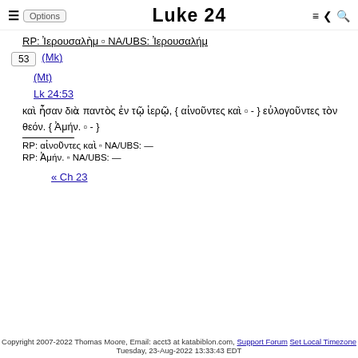Luke 24
RP: Ἰερουσαλὴμ ▫ NA/UBS: Ἰερουσαλήμ
53 (Mk)
(Mt)
Lk 24:53
καὶ ἦσαν διὰ παντὸς ἐν τῷ ἱερῷ, { αἰνοῦντες καὶ ▫ - } εὐλογοῦντες τὸν θεόν. { Ἀμήν. ▫ - }
RP: αἰνοῦντες καὶ ▫ NA/UBS: —
RP: Ἀμήν. ▫ NA/UBS: —
« Ch 23
Copyright 2007-2022 Thomas Moore, Email: acct3 at katabiblon.com, Support Forum Set Local Timezone
Tuesday, 23-Aug-2022 13:33:43 EDT